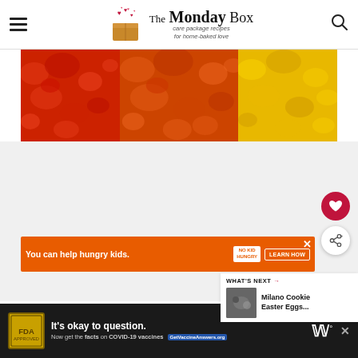The Monday Box — care package recipes for home-baked love
[Figure (photo): Close-up photo of colorful crispy cereal flakes/clusters in red, orange, and yellow arranged side by side on a white background]
[Figure (infographic): Orange advertisement banner: 'You can help hungry kids. NO KID HUNGRY. LEARN HOW' with close button]
[Figure (infographic): WHAT'S NEXT panel showing thumbnail and text 'Milano Cookie Easter Eggs...']
[Figure (infographic): Bottom dark banner ad: 'It's okay to question. Now get the facts on COVID-19 vaccines GetVaccineAnswers.org' with yellow badge and W logo]